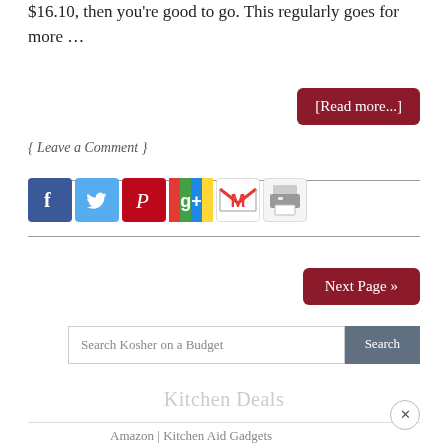$16.10, then you're good to go. This regularly goes for more …
[Read more...]
{ Leave a Comment }
[Figure (infographic): Social sharing icons: Facebook (blue), Twitter (light blue), Pinterest (red), Google+ (multicolor), Gmail (red M), Printer icon]
Next Page »
Search Kosher on a Budget
Kitchen Deals
Amazon | Kitchen Aid Gadgets